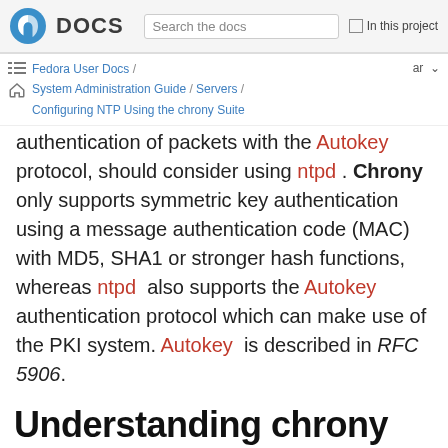Fedora DOCS — Search the docs — In this project
Fedora User Docs / System Administration Guide / Servers / Configuring NTP Using the chrony Suite — ar
authentication of packets with the Autokey protocol, should consider using ntpd. Chrony only supports symmetric key authentication using a message authentication code (MAC) with MD5, SHA1 or stronger hash functions, whereas ntpd also supports the Autokey authentication protocol which can make use of the PKI system. Autokey is described in RFC 5906.
Understanding chrony